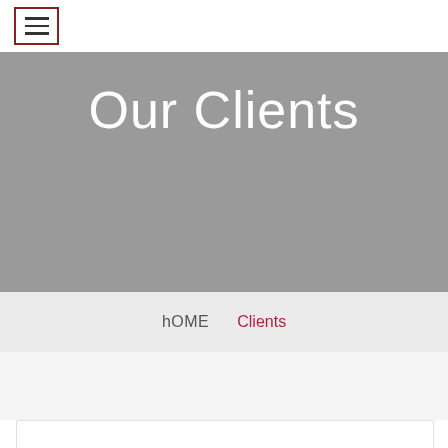[Figure (other): Hamburger menu button icon with three horizontal lines inside a red-bordered square]
Our Clients
hOME    Clients